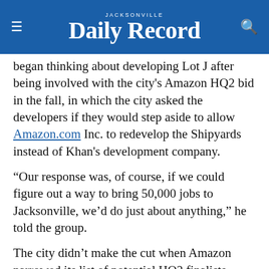JACKSONVILLE Daily Record
began thinking about developing Lot J after being involved with the city's Amazon HQ2 bid in the fall, in which the city asked the developers if they would step aside to allow Amazon.com Inc. to redevelop the Shipyards instead of Khan's development company.
“Our response was, of course, if we could figure out a way to bring 50,000 jobs to Jacksonville, we’d do just about anything,” he told the group.
The city didn’t make the cut when Amazon narrowed its list of potential HQ2 finalists, leaving